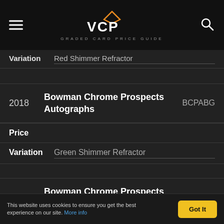[Figure (logo): VCP Graded Card Price Guide logo with hamburger menu and search icon]
| Variation | Red Shimmer Refractor |
| --- | --- |
| Year | Set Name | Code |
| --- | --- | --- |
| 2018 | Bowman Chrome Prospects Autographs | BCPABG |
Price
Variation  Green Shimmer Refractor
| Year | Set Name | Code |
| --- | --- | --- |
| 2018 | Bowman Chrome Prospects Autographs | BCPABG |
Price
This website uses cookies to ensure you get the best experience on our site. More info
Got It